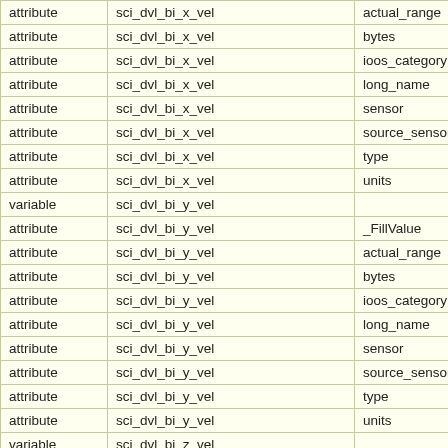| attribute | sci_dvl_bi_x_vel | actual_range |
| attribute | sci_dvl_bi_x_vel | bytes |
| attribute | sci_dvl_bi_x_vel | ioos_category |
| attribute | sci_dvl_bi_x_vel | long_name |
| attribute | sci_dvl_bi_x_vel | sensor |
| attribute | sci_dvl_bi_x_vel | source_sensor |
| attribute | sci_dvl_bi_x_vel | type |
| attribute | sci_dvl_bi_x_vel | units |
| variable | sci_dvl_bi_y_vel |  |
| attribute | sci_dvl_bi_y_vel | _FillValue |
| attribute | sci_dvl_bi_y_vel | actual_range |
| attribute | sci_dvl_bi_y_vel | bytes |
| attribute | sci_dvl_bi_y_vel | ioos_category |
| attribute | sci_dvl_bi_y_vel | long_name |
| attribute | sci_dvl_bi_y_vel | sensor |
| attribute | sci_dvl_bi_y_vel | source_sensor |
| attribute | sci_dvl_bi_y_vel | type |
| attribute | sci_dvl_bi_y_vel | units |
| variable | sci_dvl_bi_z_vel |  |
| attribute | sci_dvl_bi_z_vel | _FillValue |